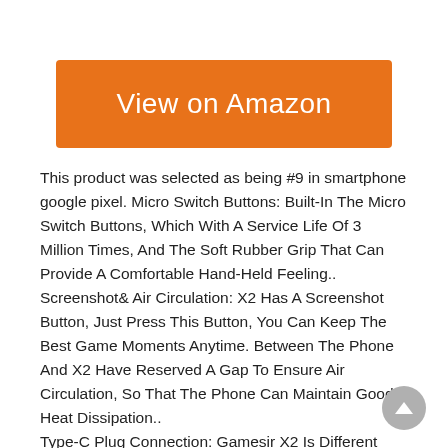[Figure (other): Orange 'View on Amazon' button]
This product was selected as being #9 in smartphone google pixel. Micro Switch Buttons: Built-In The Micro Switch Buttons, Which With A Service Life Of 3 Million Times, And The Soft Rubber Grip That Can Provide A Comfortable Hand-Held Feeling.. Screenshot& Air Circulation: X2 Has A Screenshot Button, Just Press This Button, You Can Keep The Best Game Moments Anytime. Between The Phone And X2 Have Reserved A Gap To Ensure Air Circulation, So That The Phone Can Maintain Good Heat Dissipation.. Type-C Plug Connection: Gamesir X2 Is Different From Other Mobile Controller, Which Is The Adjustable Type-C